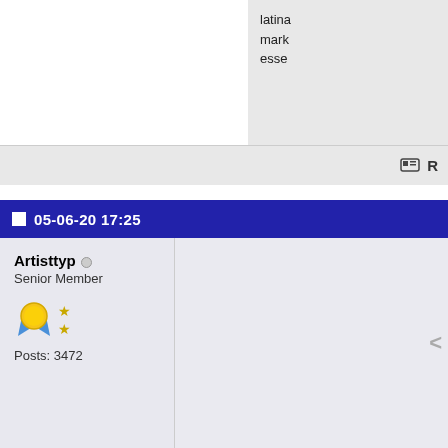latina mark esse
R
05-06-20 17:25
Artisttyp
Senior Member
Posts: 3472